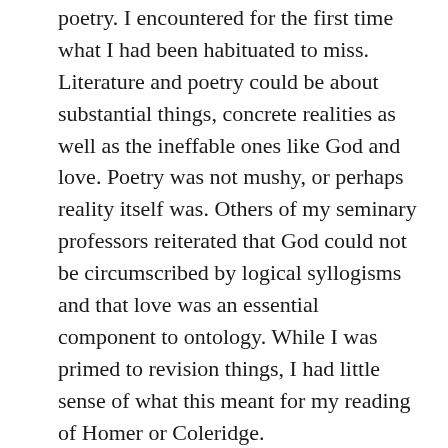poetry. I encountered for the first time what I had been habituated to miss. Literature and poetry could be about substantial things, concrete realities as well as the ineffable ones like God and love. Poetry was not mushy, or perhaps reality itself was. Others of my seminary professors reiterated that God could not be circumscribed by logical syllogisms and that love was an essential component to ontology. While I was primed to revision things, I had little sense of what this meant for my reading of Homer or Coleridge.
While I began to enjoy poets like Gerard Manley Hopkins and William Wordsworth more regularly, it was a Ken Myers' interview with Mary Midgely that caused the scales to fall from my eyes. Midgely, an elder-stateswoman of British philosophy, had